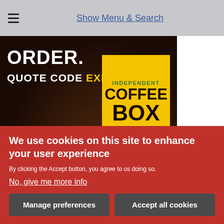Show Menu & Search
[Figure (photo): Dark coffee shop background banner image with white bold text 'ORDER.' and 'QUOTE CODE EXE' (EXE in yellow), and a yellow badge with text 'INDEPENDENT COFFEE BOX']
Top video
We use cookies on this site to enhance your user experience
By clicking the Accept button, you agree to us doing so.
No, give me more info
Manage preferences
Accept all cookies